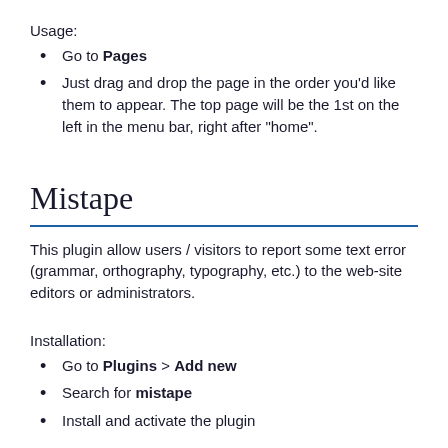Usage:
Go to Pages
Just drag and drop the page in the order you'd like them to appear. The top page will be the 1st on the left in the menu bar, right after "home".
Mistape
This plugin allow users / visitors to report some text error (grammar, orthography, typography, etc.) to the web-site editors or administrators.
Installation:
Go to Plugins > Add new
Search for mistape
Install and activate the plugin